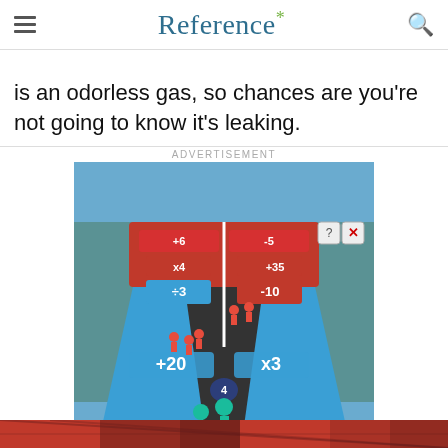Reference*
is an odorless gas, so chances are you're not going to know it's leaking.
[Figure (screenshot): Advertisement screenshot of a mobile game called 'Hold and Move' showing a road/runner game with colored lanes marked +20, x3, ÷3, -10, x4, +35, +6, -5 and player characters on a track in a winter landscape.]
[Figure (photo): Partial bottom strip showing a colorful red and patterned image at the bottom of the page.]